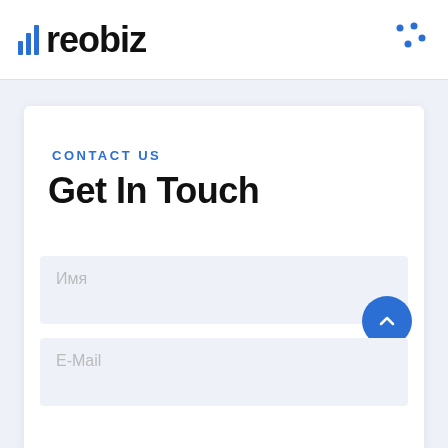[Figure (logo): Reobiz logo with blue bar chart icon and bold black text 'reobiz']
[Figure (illustration): Blue dots decoration in top-right corner of header]
CONTACT US
Get In Touch
Имя
E-Mail